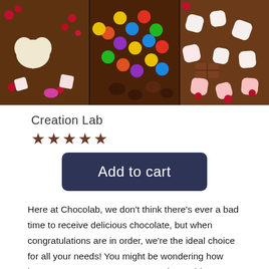[Figure (photo): Overhead photo of chocolate boxes filled with colorful candies, marshmallows, chocolate truffles, M&Ms, and other sweets arranged in three sections.]
Creation Lab
★★★★★
Add to cart
Here at Chocolab, we don't think there's ever a bad time to receive delicious chocolate, but when congratulations are in order, we're the ideal choice for all your needs! You might be wondering how best to convey your message, and searching around for a fitting gift; but there's no need to stress, because our site gives you a convenient and effective method of celebrating a friend or loved one's